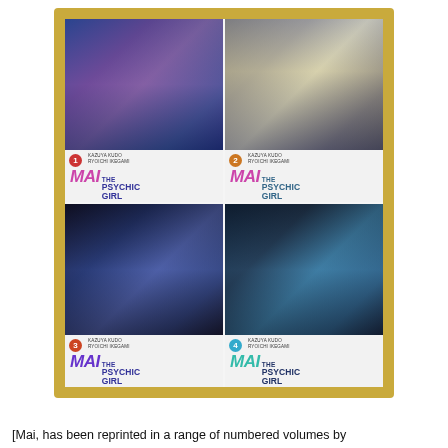[Figure (photo): Photograph of four manga volumes of 'Mai the Psychic Girl' (volumes 1-4) by Kazuya Kudo and Ryoichi Ikegami, arranged in a 2x2 grid on a gold/yellow background. Each volume shows manga cover art on top and a white spine with the title and volume number below.]
[Mai, has been reprinted in a range of numbered volumes by